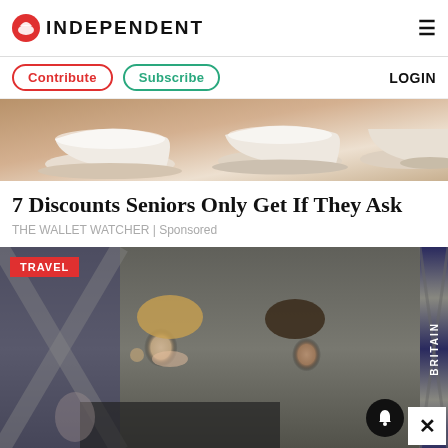INDEPENDENT
[Figure (photo): Top portion of article image showing white ceramic bowls on a wooden surface]
7 Discounts Seniors Only Get If They Ask
THE WALLET WATCHER | Sponsored
[Figure (photo): Smiling blonde woman and dark-haired man at what appears to be a Britain-related event, with a TRAVEL badge overlay]